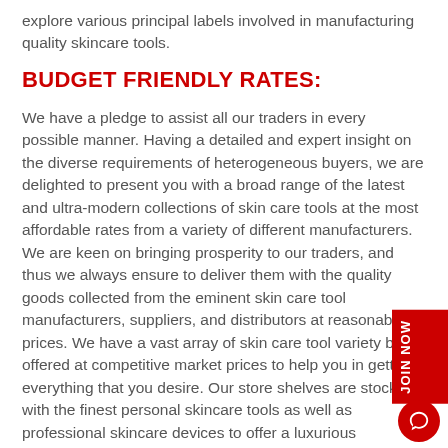explore various principal labels involved in manufacturing quality skincare tools.
BUDGET FRIENDLY RATES:
We have a pledge to assist all our traders in every possible manner. Having a detailed and expert insight on the diverse requirements of heterogeneous buyers, we are delighted to present you with a broad range of the latest and ultra-modern collections of skin care tools at the most affordable rates from a variety of different manufacturers. We are keen on bringing prosperity to our traders, and thus we always ensure to deliver them with the quality goods collected from the eminent skin care tool manufacturers, suppliers, and distributors at reasonable prices. We have a vast array of skin care tool variety being offered at competitive market prices to help you in getting everything that you desire. Our store shelves are stocked with the finest personal skincare tools as well as professional skincare devices to offer a luxurious experience to the users. The buyers from makeup and cosmetics, healthcare, aesthetic medicine, and skincare invest in this category and place huge orders for the bulk quantities of skin care biocare tools. From the